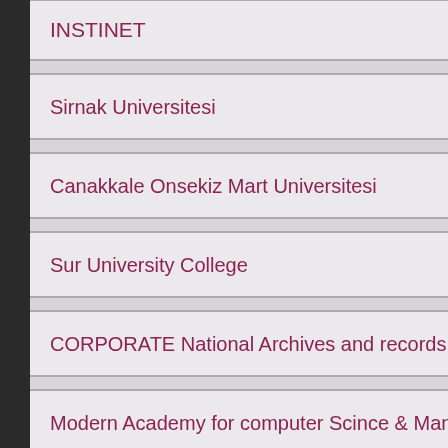INSTINET
Sirnak Universitesi
Canakkale Onsekiz Mart Universitesi
Sur University College
CORPORATE National Archives and records - oman
Modern Academy for computer Scince & Management
Embassy of Egypt in London